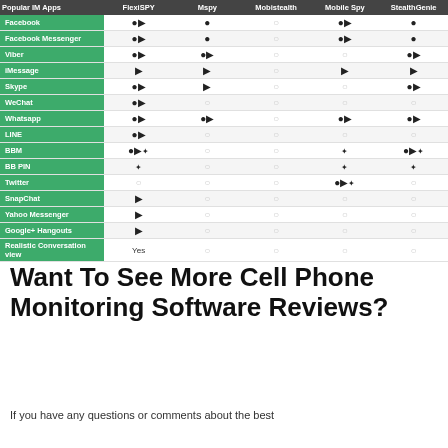| Popular IM Apps | FlexiSPY | Mspy | Mobistealth | Mobile Spy | StealthGenie |
| --- | --- | --- | --- | --- | --- |
| Facebook | 🤖🍎 | 🤖 | ○ | 🤖🍎 | 🤖 |
| Facebook Messenger | 🤖🍎 | 🤖 | ○ | 🤖🍎 | 🤖 |
| Viber | 🤖🍎 | 🤖🍎 | ○ | ○ | 🤖🍎 |
| iMessage | 🍎 | 🍎 | ○ | 🍎 | 🍎 |
| Skype | 🤖🍎 | 🍎 | ○ | ○ | 🤖🍎 |
| WeChat | 🤖🍎 | ○ | ○ | ○ | ○ |
| Whatsapp | 🤖🍎 | 🤖🍎 | ○ | 🤖🍎 | 🤖🍎 |
| LINE | 🤖🍎 | ○ | ○ | ○ | ○ |
| BBM | 🤖🍎🫐 | ○ | ○ | 🫐 | 🤖🍎🫐 |
| BB PIN | 🫐 | ○ | ○ | 🫐 | 🫐 |
| Twitter | ○ | ○ | ○ | 🤖🍎🫐 | ○ |
| SnapChat | 🍎 | ○ | ○ | ○ | ○ |
| Yahoo Messenger | 🍎 | ○ | ○ | ○ | ○ |
| Google+ Hangouts | 🍎 | ○ | ○ | ○ | ○ |
| Realistic Conversation view | Yes | ○ | ○ | ○ | ○ |
Want To See More Cell Phone Monitoring Software Reviews?
If you have any questions or comments about the best